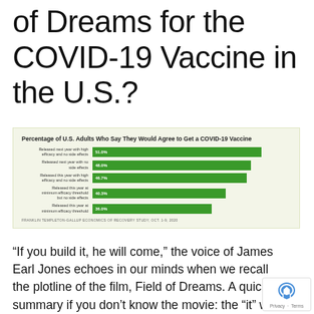of Dreams for the COVID-19 Vaccine in the U.S.?
[Figure (bar-chart): Percentage of U.S. Adults Who Say They Would Agree to Get a COVID-19 Vaccine]
FRANKLIN TEMPLETON-GALLUP ECONOMICS OF RECOVERY STUDY, OCT. 1-9, 2020
“If you build it, he will come,” the voice of James Earl Jones echoes in our minds when we recall the plotline of the film, Field of Dreams. A quick summary if you don’t know the movie: the “it” was a baseball field to be built in a rural cornfield. The “he” was a baseball player, ultimately joined by